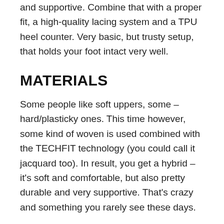and supportive. Combine that with a proper fit, a high-quality lacing system and a TPU heel counter. Very basic, but trusty setup, that holds your foot intact very well.
MATERIALS
Some people like soft uppers, some – hard/plasticky ones. This time however, some kind of woven is used combined with the TECHFIT technology (you could call it jacquard too). In result, you get a hybrid – it's soft and comfortable, but also pretty durable and very supportive. That's crazy and something you rarely see these days.
Four different material versions of the D Lillard 2 have released now. This is the TECHFIT or the Hmmm... I'm finding out about the others...